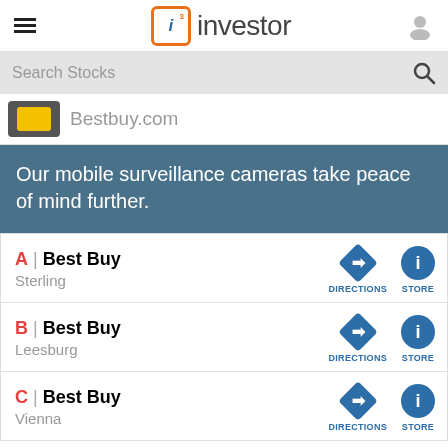i3 investor
Search Stocks
Bestbuy.com
Our mobile surveillance cameras take peace of mind further.
A | Best Buy — Sterling — DIRECTIONS — STORE
B | Best Buy — Leesburg — DIRECTIONS — STORE
C | Best Buy — Vienna — DIRECTIONS — STORE
Market > MY Stocks > FINANCIAL SERVICES > OTHER FINANCIALS